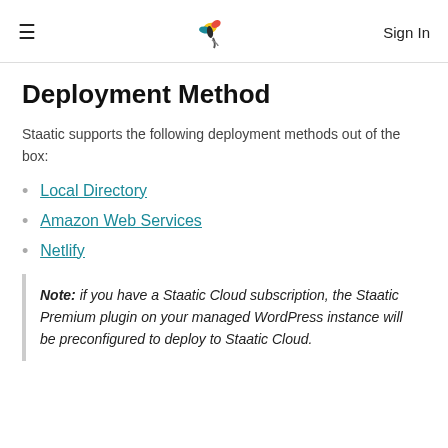≡  [logo]  Sign In
Deployment Method
Staatic supports the following deployment methods out of the box:
Local Directory
Amazon Web Services
Netlify
Note: if you have a Staatic Cloud subscription, the Staatic Premium plugin on your managed WordPress instance will be preconfigured to deploy to Staatic Cloud.